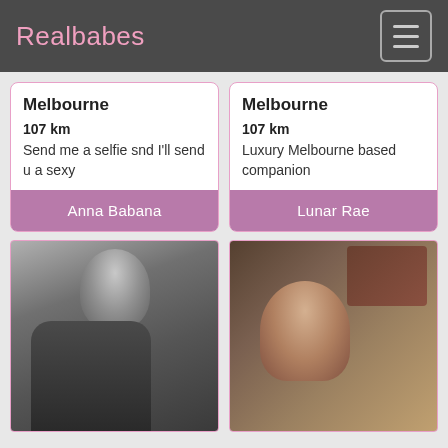Realbabes
Melbourne
107 km
Send me a selfie snd I'll send u a sexy
Anna Babana
Melbourne
107 km
Luxury Melbourne based companion
Lunar Rae
[Figure (photo): Black and white photo of a woman with dark hair looking down]
[Figure (photo): Color photo of a woman with long dark hair in a white outfit sitting in a decorated room]